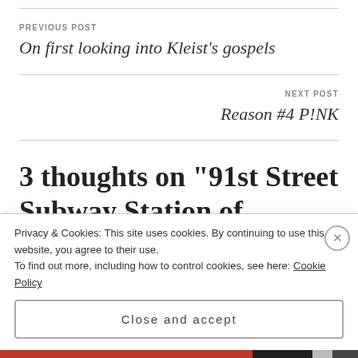PREVIOUS POST
On first looking into Kleist’s gospels
NEXT POST
Reason #4 P!NK
3 thoughts on “91st Street Subway Station of Easter”
Privacy & Cookies: This site uses cookies. By continuing to use this website, you agree to their use.
To find out more, including how to control cookies, see here: Cookie Policy
Close and accept